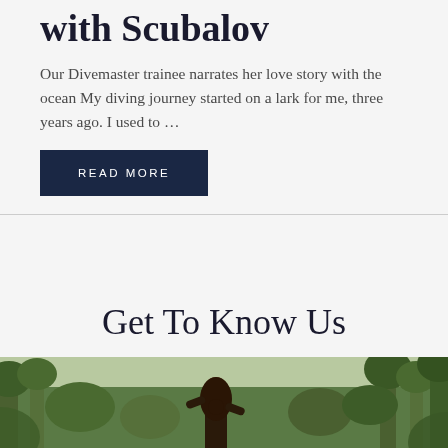with Scubalov
Our Divemaster trainee narrates her love story with the ocean My diving journey started on a lark for me, three years ago. I used to …
READ MORE
Get To Know Us
[Figure (photo): A man with long hair and beard standing outdoors among tropical palm trees and lush green foliage.]